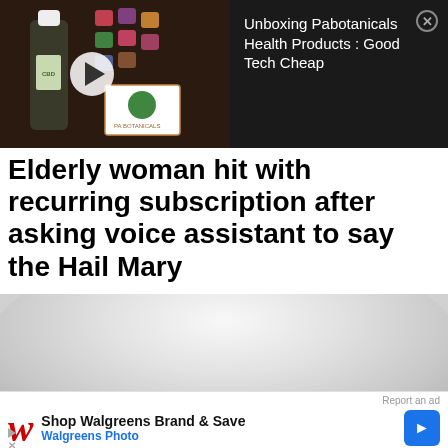[Figure (screenshot): Video thumbnail advertisement for 'Unboxing Pabotanicals Health Products : Good Tech Cheap' showing CBD bottle and colorful candy/gummies with a play button overlay and PA Botanicals logo]
Unboxing Pabotanicals Health Products : Good Tech Cheap
Elderly woman hit with recurring subscription after asking voice assistant to say the Hail Mary
[Figure (photo): White dome-shaped product (possibly a lamp or diffuser) on white background, advertisement image]
Report an ad
Shop Walgreens Brand & Save
Walgreens Photo